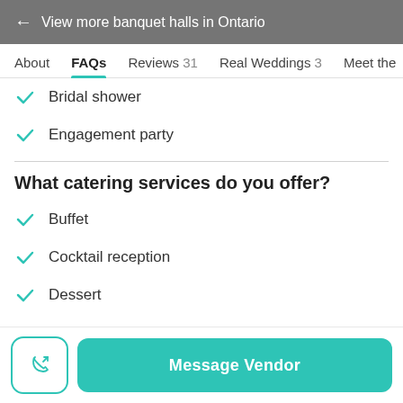← View more banquet halls in Ontario
About  FAQs  Reviews 31  Real Weddings 3  Meet the
Bridal shower
Engagement party
What catering services do you offer?
Buffet
Cocktail reception
Dessert
Family style
Message Vendor